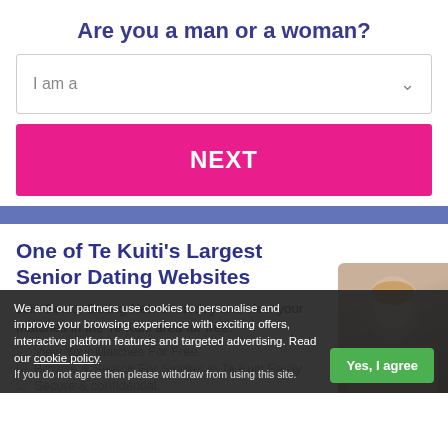Are you a man or a woman?
I am a
NEXT
One of Te Kuiti's Largest Senior Dating Websites
Join Senior Dating Network today and view your matches in the Te Kuiti area for free.
We and our partners use cookies to personalise and improve your browsing experience with exciting offers, interactive platform features and targeted advertising. Read our cookie policy.
If you do not agree then please withdraw from using this site.
View Your Matches For Free
Browse & Search For Singles in Te Kuiti Easily
Secure & confidential
Yes, I agree